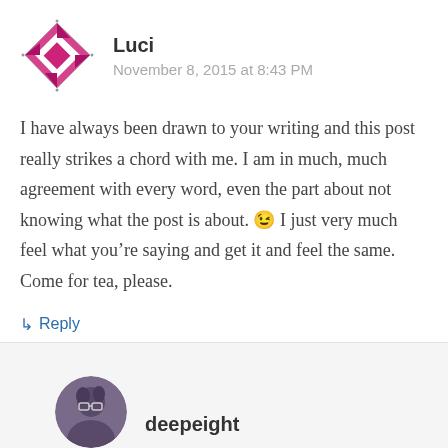[Figure (illustration): Pink/magenta geometric pinwheel avatar icon for user Luci]
Luci
November 8, 2015 at 8:43 PM
I have always been drawn to your writing and this post really strikes a chord with me. I am in much, much agreement with every word, even the part about not knowing what the post is about. 😉 I just very much feel what you’re saying and get it and feel the same. Come for tea, please.
↳ Reply
[Figure (photo): Circular avatar photo of user deepeight]
deepeight